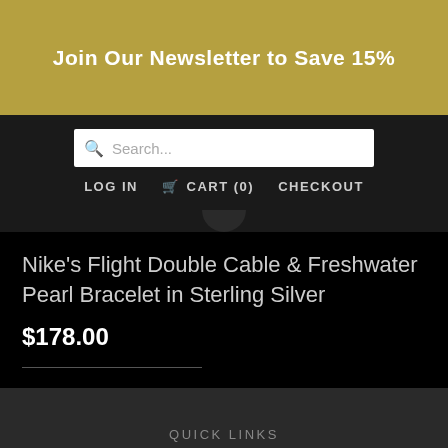Join Our Newsletter to Save 15%
Search...
LOG IN   CART (0)   CHECKOUT
Nike's Flight Double Cable & Freshwater Pearl Bracelet in Sterling Silver
$178.00
QUICK LINKS